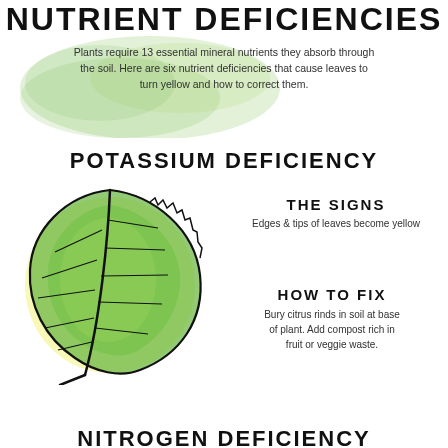NUTRIENT DEFICIENCIES
Plants require 13 essential mineral nutrients they absorb through the soil. Here are six nutrient deficiencies that cause leaves to turn yellow and how to correct them.
POTASSIUM DEFICIENCY
[Figure (illustration): Watercolor illustration of a leaf with green center and yellow edges, with black outline and vein lines drawn in a sketch style showing potassium deficiency]
THE SIGNS
Edges & tips of leaves become yellow
HOW TO FIX
Bury citrus rinds in soil at base of plant. Add compost rich in fruit or veggie waste.
NITROGEN DEFICIENCY